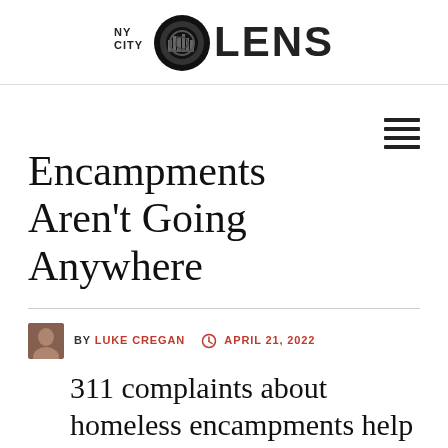NY CITY LENS
Encampments Aren't Going Anywhere
BY LUKE CREGAN  APRIL 21, 2022
311 complaints about homeless encampments help the city target them for sweeps, but also